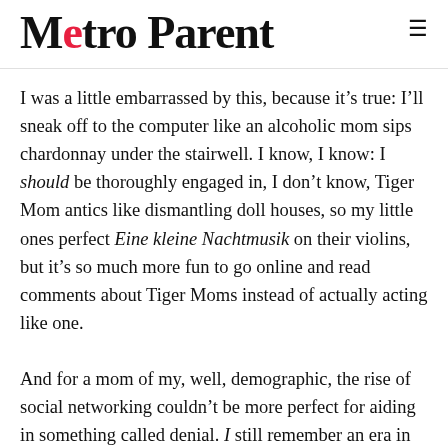Metro Parent
I was a little embarrassed by this, because it’s true: I’ll sneak off to the computer like an alcoholic mom sips chardonnay under the stairwell. I know, I know: I should be thoroughly engaged in, I don’t know, Tiger Mom antics like dismantling doll houses, so my little ones perfect Eine kleine Nachtmusik on their violins, but it’s so much more fun to go online and read comments about Tiger Moms instead of actually acting like one.
And for a mom of my, well, demographic, the rise of social networking couldn’t be more perfect for aiding in something called denial. I still remember an era in which sitting at a computer clearly meant you were doing something, like